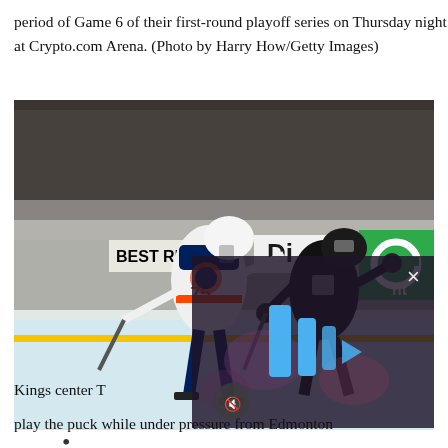period of Game 6 of their first-round playoff series on Thursday night at Crypto.com Arena. (Photo by Harry How/Getty Images)
[Figure (photo): Hockey action photo showing an Edmonton Oilers player in white jersey number 75 skating with a stick, and a Los Angeles Kings player in black jersey, battling along the boards. A video player overlay appears in the lower right portion of the image with blue play bars, an X close button, and a mute button.]
Kings center T
play the puck while under pressure from Edmonton